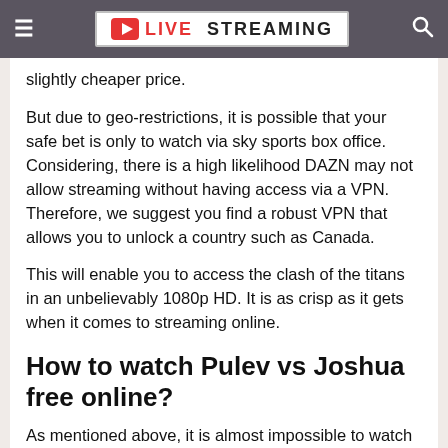LIVE STREAMING
slightly cheaper price.
But due to geo-restrictions, it is possible that your safe bet is only to watch via sky sports box office. Considering, there is a high likelihood DAZN may not allow streaming without having access via a VPN. Therefore, we suggest you find a robust VPN that allows you to unlock a country such as Canada.
This will enable you to access the clash of the titans in an unbelievably 1080p HD. It is as crisp as it gets when it comes to streaming online.
How to watch Pulev vs Joshua free online?
As mentioned above, it is almost impossible to watch for free without an active subscription to one